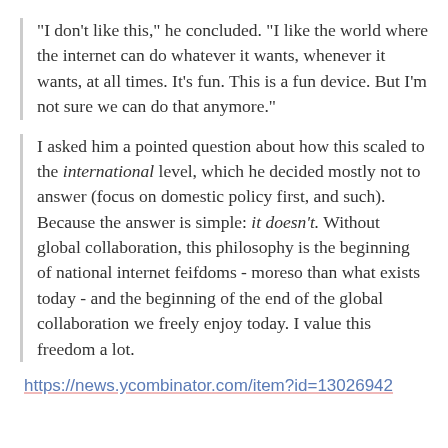"I don't like this," he concluded. "I like the world where the internet can do whatever it wants, whenever it wants, at all times. It's fun. This is a fun device. But I'm not sure we can do that anymore."
I asked him a pointed question about how this scaled to the international level, which he decided mostly not to answer (focus on domestic policy first, and such). Because the answer is simple: it doesn't. Without global collaboration, this philosophy is the beginning of national internet feifdoms - moreso than what exists today - and the beginning of the end of the global collaboration we freely enjoy today. I value this freedom a lot.
https://news.ycombinator.com/item?id=13026942